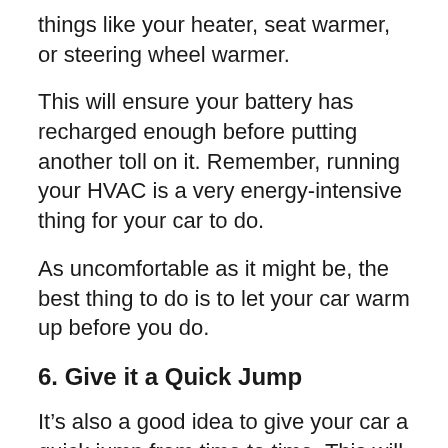things like your heater, seat warmer, or steering wheel warmer.
This will ensure your battery has recharged enough before putting another toll on it. Remember, running your HVAC is a very energy-intensive thing for your car to do.
As uncomfortable as it might be, the best thing to do is to let your car warm up before you do.
6. Give it a Quick Jump
It’s also a good idea to give your car a quick jump from time to time. This will quickly replenish your battery and prolong its life.